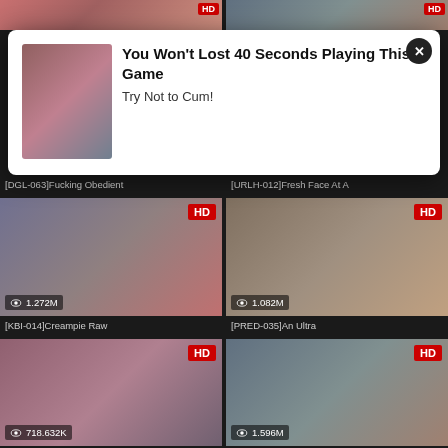[Figure (screenshot): Porn video website grid with popup ad overlay. Top row shows partial video thumbnails. Popup ad says 'You Won't Lost 40 Seconds Playing This Game / Try Not to Cum!'. Below are video cards: [DGL-063]Fucking Obedient (left), [URLH-012]Fresh Face At A (right), [KBI-014]Creampie Raw 1.272M views (left), [PRED-035]An Ultra 1.082M views (right), partial bottom row with 718.632K views (left) and 1.596M views (right). All cards show HD badge.]